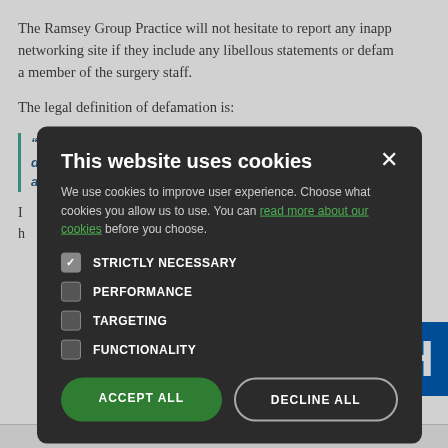The Ramsey Group Practice will not hesitate to report any inappropriate comments on a social networking site if they include any libellous statements or defamatory comments about a member of the surgery staff.
The legal definition of defamation is:
...either written or ... d, or confidence i... able opinions or f...
... Surgery, please c... h...
[Figure (screenshot): Cookie consent modal dialog with dark background. Title: 'This website uses cookies'. Body text: 'We use cookies to improve user experience. Choose what cookies you allow us to use. You can read more about our cookies before you choose.' Checkboxes: STRICTLY NECESSARY (checked), PERFORMANCE (unchecked), TARGETING (unchecked), FUNCTIONALITY (unchecked). Buttons: ACCEPT ALL (green), DECLINE ALL (outline).]
[Figure (logo): NHS logo in blue and white]
Copyright 2006 - 2022 My Surgery Website | Data Processing Poli...